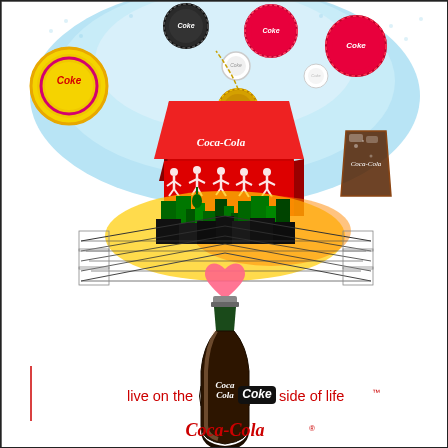[Figure (illustration): Coca-Cola advertisement illustration. Top half shows a light blue sky with multiple Coke bottle caps floating/flying upward. Center features a large red Coca-Cola branded cubic/box structure with white dancing silhouette figures on it, a gold Coke bottle cap hanging from a chain, and a glass of Coca-Cola on the right. Below that is a colorful stylized cityscape with green and dark buildings and yellow/orange energy radiating upward. A pink heart appears below the cityscape. A large classic contour Coca-Cola bottle (dark green/brown) dominates the lower center. Below the bottle is the tagline 'live on the Coke side of life' in red text with 'Coke' in a black rounded badge. At the very bottom is the Coca-Cola cursive script logo in red. A thin red vertical line appears on the left edge near the bottom.]
live on the Coke side of life™